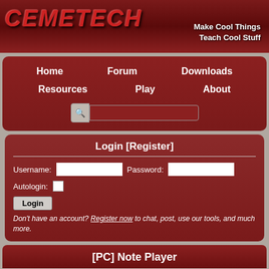[Figure (screenshot): Cemetech website banner with logo and red calculator keys background, tagline Make Cool Things Teach Cool Stuff]
Home | Forum | Downloads | Resources | Play | About
Login [Register]
Username: [field] Password: [field] Autologin: [checkbox]
Login button
Don't have an account? Register now to chat, post, use our tools, and much more.
[PC] Note Player
» Forum > Member Features > Merthsoft
reply to topic
»
» View previous topic :: View next topic